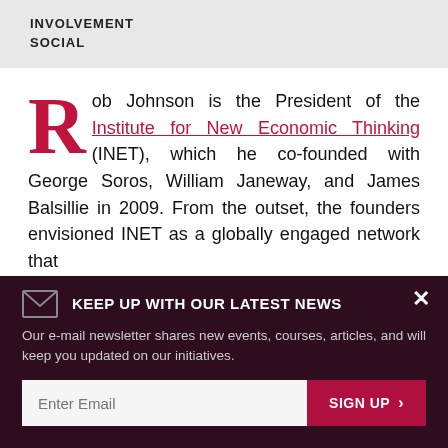INVOLVEMENT
SOCIAL
Rob Johnson is the President of the Institute for New Economic Thinking (INET), which he co-founded with George Soros, William Janeway, and James Balsillie in 2009. From the outset, the founders envisioned INET as a globally engaged network that
KEEP UP WITH OUR LATEST NEWS
Our e-mail newsletter shares new events, courses, articles, and will keep you updated on our initiatives.
Enter Email  SIGN UP